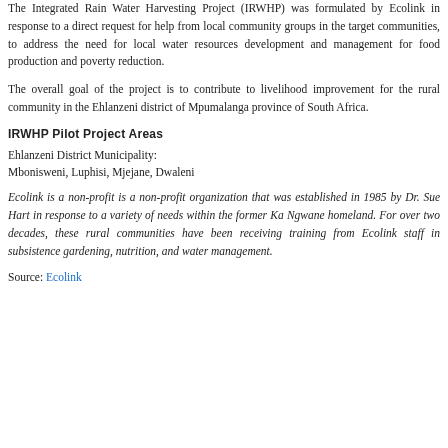The Integrated Rain Water Harvesting Project (IRWHP) was formulated by Ecolink in response to a direct request for help from local community groups in the target communities, to address the need for local water resources development and management for food production and poverty reduction.
The overall goal of the project is to contribute to livelihood improvement for the rural community in the Ehlanzeni district of Mpumalanga province of South Africa.
IRWHP Pilot Project Areas
Ehlanzeni District Municipality:
Mbonisweni, Luphisi, Mjejane, Dwaleni
Ecolink is a non-profit is a non-profit organization that was established in 1985 by Dr. Sue Hart in response to a variety of needs within the former Ka Ngwane homeland. For over two decades, these rural communities have been receiving training from Ecolink staff in subsistence gardening, nutrition, and water management.
Source: Ecolink